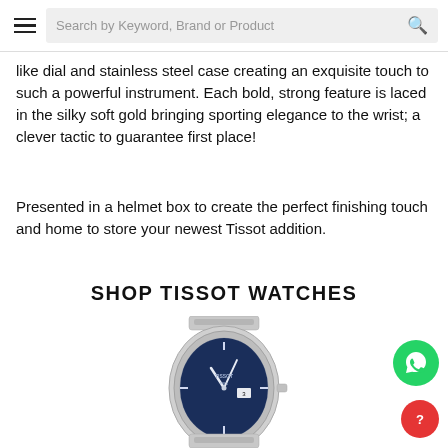Search by Keyword, Brand or Product
like dial and stainless steel case creating an exquisite touch to such a powerful instrument. Each bold, strong feature is laced in the silky soft gold bringing sporting elegance to the wrist; a clever tactic to guarantee first place!
Presented in a helmet box to create the perfect finishing touch and home to store your newest Tissot addition.
SHOP TISSOT WATCHES
[Figure (photo): A Tissot PRX watch with blue dial and stainless steel bracelet, shown in a three-quarter view.]